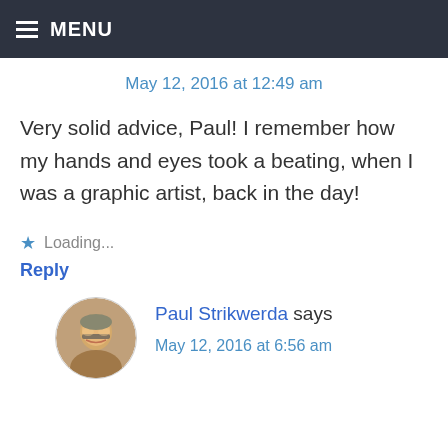MENU
May 12, 2016 at 12:49 am
Very solid advice, Paul! I remember how my hands and eyes took a beating, when I was a graphic artist, back in the day!
Loading...
Reply
[Figure (photo): Circular avatar photo of Paul Strikwerda, an older man with glasses and gray hair.]
Paul Strikwerda says
May 12, 2016 at 6:56 am